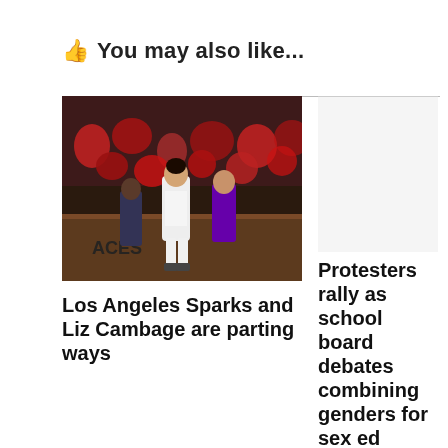👆 You may also like...
[Figure (photo): Basketball players on court, including a player in white uniform and players in purple uniforms, with crowd in background. Las Vegas Aces arena visible.]
Los Angeles Sparks and Liz Cambage are parting ways
Protesters rally as school board debates combining genders for sex ed